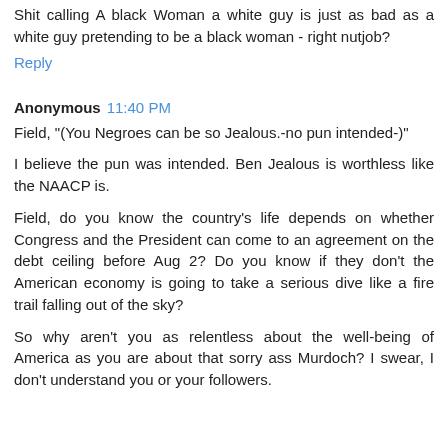Shit calling A black Woman a white guy is just as bad as a white guy pretending to be a black woman - right nutjob?
Reply
Anonymous 11:40 PM
Field, "(You Negroes can be so Jealous.-no pun intended-)"
I believe the pun was intended. Ben Jealous is worthless like the NAACP is.
Field, do you know the country's life depends on whether Congress and the President can come to an agreement on the debt ceiling before Aug 2? Do you know if they don't the American economy is going to take a serious dive like a fire trail falling out of the sky?
So why aren't you as relentless about the well-being of America as you are about that sorry ass Murdoch? I swear, I don't understand you or your followers.